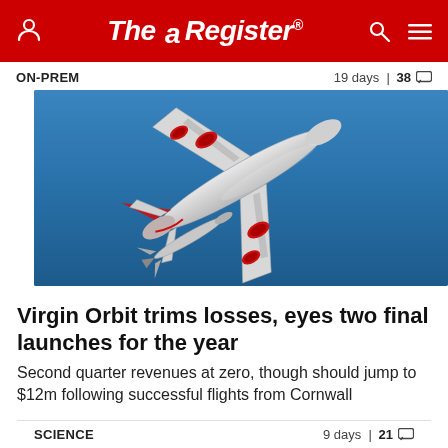The Register
ON-PREM    19 days | 38
[Figure (photo): Aerial view of Virgin Orbit's Boeing 747 carrier aircraft 'Cosmic Girl' with a LauncherOne rocket beneath its wing, flying against a blue sky background]
Virgin Orbit trims losses, eyes two final launches for the year
Second quarter revenues at zero, though should jump to $12m following successful flights from Cornwall
SCIENCE    9 days | 21